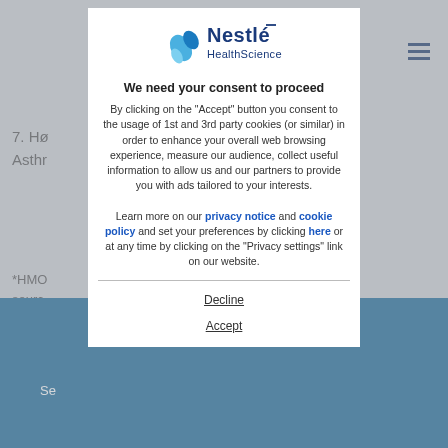[Figure (logo): Nestlé HealthScience logo with blue pill/capsule icon]
We need your consent to proceed
By clicking on the "Accept" button you consent to the usage of 1st and 3rd party cookies (or similar) in order to enhance your overall web browsing experience, measure our audience, collect useful information to allow us and our partners to provide you with ads tailored to your interests.

Learn more on our privacy notice and cookie policy and set your preferences by clicking here or at any time by clicking on the "Privacy settings" link on our website.
Decline
Accept